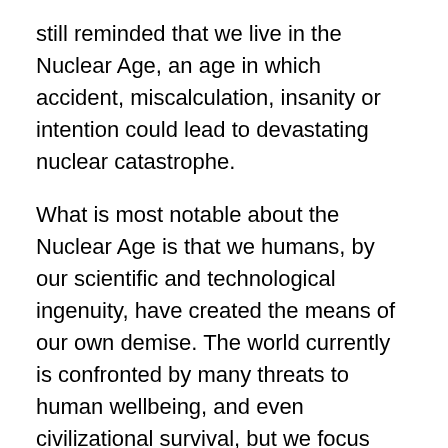still reminded that we live in the Nuclear Age, an age in which accident, miscalculation, insanity or intention could lead to devastating nuclear catastrophe.
What is most notable about the Nuclear Age is that we humans, by our scientific and technological ingenuity, have created the means of our own demise. The world currently is confronted by many threats to human wellbeing, and even civilizational survival, but we focus here on the particular grave dangers posed by nuclear weapons and nuclear war.
Even a relatively small nuclear exchange between India and Pakistan, with each country using 50 Hiroshima-size nuclear weapons on the other side's cities, could result in a nuclear famine killing some two billion of the most vulnerable people on the planet. A nuclear war between